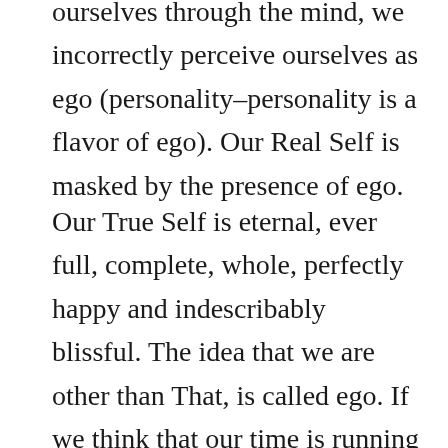ourselves through the mind, we incorrectly perceive ourselves as ego (personality–personality is a flavor of ego). Our Real Self is masked by the presence of ego.
Our True Self is eternal, ever full, complete, whole, perfectly happy and indescribably blissful. The idea that we are other than That, is called ego. If we think that our time is running out, that we are unfulfilled and incomplete, we will naturally feel compelled to do something. Our desire to act, to